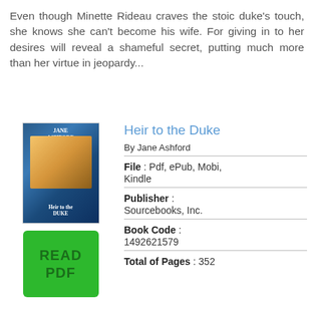Even though Minette Rideau craves the stoic duke's touch, she knows she can't become his wife. For giving in to her desires will reveal a shameful secret, putting much more than her virtue in jeopardy...
Heir to the Duke
By Jane Ashford
File : Pdf, ePub, Mobi, Kindle
Publisher : Sourcebooks, Inc.
Book Code : 1492621579
Total of Pages : 352